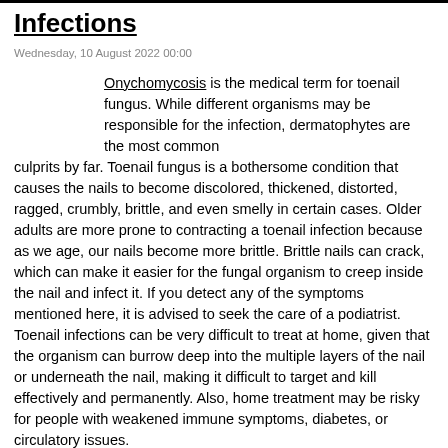Infections
Wednesday, 10 August 2022 00:00
Onychomycosis is the medical term for toenail fungus. While different organisms may be responsible for the infection, dermatophytes are the most common culprits by far. Toenail fungus is a bothersome condition that causes the nails to become discolored, thickened, distorted, ragged, crumbly, brittle, and even smelly in certain cases. Older adults are more prone to contracting a toenail infection because as we age, our nails become more brittle. Brittle nails can crack, which can make it easier for the fungal organism to creep inside the nail and infect it. If you detect any of the symptoms mentioned here, it is advised to seek the care of a podiatrist. Toenail infections can be very difficult to treat at home, given that the organism can burrow deep into the multiple layers of the nail or underneath the nail, making it difficult to target and kill effectively and permanently. Also, home treatment may be risky for people with weakened immune symptoms, diabetes, or circulatory issues.
For more information about treatment, contact Dr. Steven